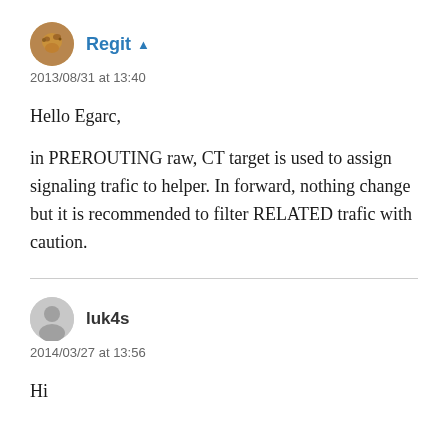Regit
2013/08/31 at 13:40
Hello Egarc,

in PREROUTING raw, CT target is used to assign signaling trafic to helper. In forward, nothing change but it is recommended to filter RELATED trafic with caution.
luk4s
2014/03/27 at 13:56
Hi